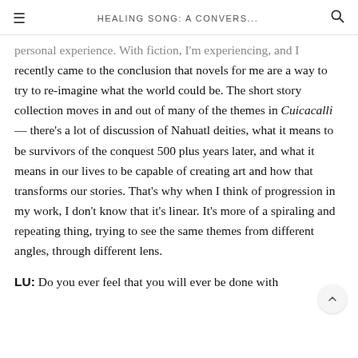HEALING SONG: A CONVERS...
personal experience. With fiction, I'm experiencing, and I recently came to the conclusion that novels for me are a way to try to re-imagine what the world could be. The short story collection moves in and out of many of the themes in Cuicacalli— there's a lot of discussion of Nahuatl deities, what it means to be survivors of the conquest 500 plus years later, and what it means in our lives to be capable of creating art and how that transforms our stories. That's why when I think of progression in my work, I don't know that it's linear. It's more of a spiraling and repeating thing, trying to see the same themes from different angles, through different lens.
LU: Do you ever feel that you will ever be done with